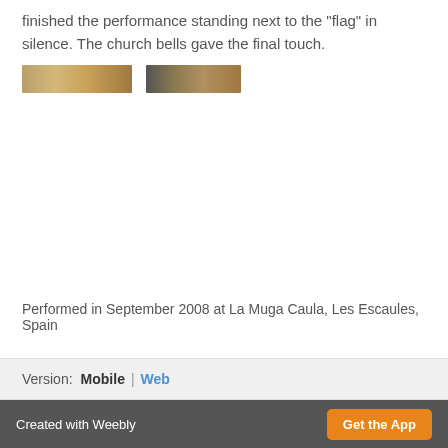finished the performance standing next to the "flag" in silence. The church bells gave the final touch.
[Figure (photo): Two small thumbnail photos placed side by side, showing outdoor scenes with earthy brown and gold tones.]
Performed in September 2008 at La Muga Caula, Les Escaules, Spain
Version:  Mobile | Web
Created with Weebly  Get the App